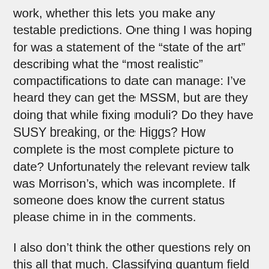work, whether this lets you make any testable predictions. One thing I was hoping for was a statement of the “state of the art” describing what the “most realistic” compactifications to date can manage: I’ve heard they can get the MSSM, but are they doing that while fixing moduli? Do they have SUSY breaking, or the Higgs? How complete is the most complete picture to date? Unfortunately the relevant review talk was Morrison’s, which was incomplete. If someone does know the current status please chime in in the comments.
I also don’t think the other questions rely on this all that much. Classifying quantum field theories is something you can do (and find